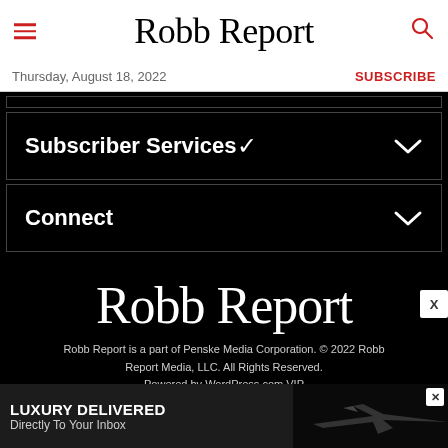Robb Report
Thursday, August 18, 2022
SUBSCRIBE
Subscriber Services
Connect
Robb Report
Robb Report is a part of Penske Media Corporation. © 2022 Robb Report Media, LLC. All Rights Reserved. Powered by WordPress.com VIP
LUXURY DELIVERED Directly To Your Inbox